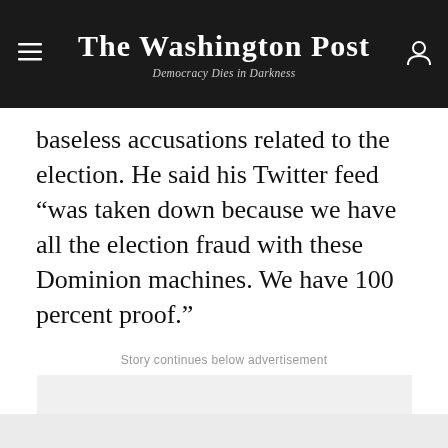The Washington Post — Democracy Dies in Darkness
baseless accusations related to the election. He said his Twitter feed “was taken down because we have all the election fraud with these Dominion machines. We have 100 percent proof.”
Story continues below advertisement
[Figure (other): Advertisement placeholder — light gray rectangle]